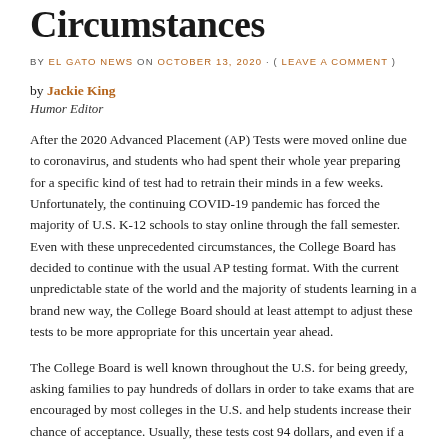Circumstances
BY EL GATO NEWS ON OCTOBER 13, 2020 · ( LEAVE A COMMENT )
by Jackie King
Humor Editor
After the 2020 Advanced Placement (AP) Tests were moved online due to coronavirus, and students who had spent their whole year preparing for a specific kind of test had to retrain their minds in a few weeks. Unfortunately, the continuing COVID-19 pandemic has forced the majority of U.S. K-12 schools to stay online through the fall semester. Even with these unprecedented circumstances, the College Board has decided to continue with the usual AP testing format. With the current unpredictable state of the world and the majority of students learning in a brand new way, the College Board should at least attempt to adjust these tests to be more appropriate for this uncertain year ahead.
The College Board is well known throughout the U.S. for being greedy, asking families to pay hundreds of dollars in order to take exams that are encouraged by most colleges in the U.S. and help students increase their chance of acceptance. Usually, these tests cost 94 dollars, and even if a